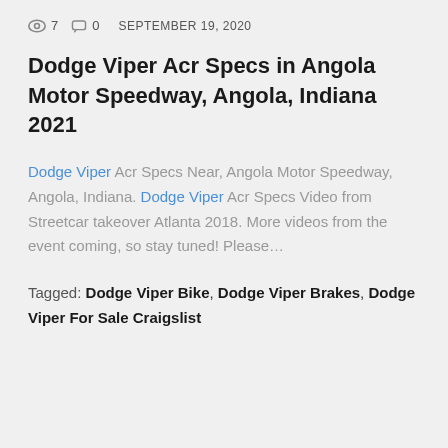👁 7  💬 0  SEPTEMBER 19, 2020
Dodge Viper Acr Specs in Angola Motor Speedway, Angola, Indiana 2021
Dodge Viper Acr Specs Near, Angola Motor Speedway, Angola, Indiana. Dodge Viper Acr Specs Video from Streetcar takeover Atlanta 2018. More videos from the event coming, so stay tuned! Please…
Tagged: Dodge Viper Bike, Dodge Viper Brakes, Dodge Viper For Sale Craigslist